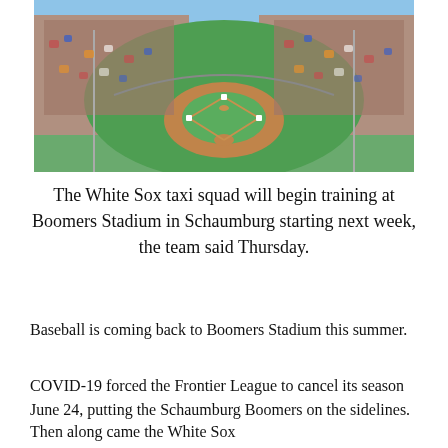[Figure (photo): Aerial/overhead view of Boomers Stadium in Schaumburg filled with spectators watching a baseball game on a sunny day. The baseball diamond and outfield grass are visible, surrounded by packed stadium seating.]
The White Sox taxi squad will begin training at Boomers Stadium in Schaumburg starting next week, the team said Thursday.
Baseball is coming back to Boomers Stadium this summer.
COVID-19 forced the Frontier League to cancel its season June 24, putting the Schaumburg Boomers on the sidelines.
Then along came the White Sox...